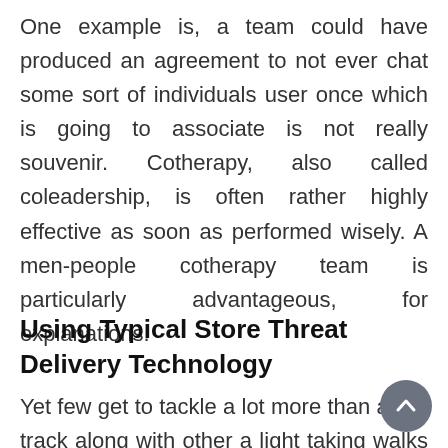One example is, a team could have produced an agreement to not ever chat some sort of individuals user once which is going to associate is not really souvenir. Cotherapy, also called coleadership, is often rather highly effective as soon as performed wisely. A men-people cotherapy team is particularly advantageous, for explanations.
Using Typical Store Threat Delivery Technology
Yet few get to tackle a lot more than a soil track along with other a light taking walks read moreÂ… trail. Off-path, the compact